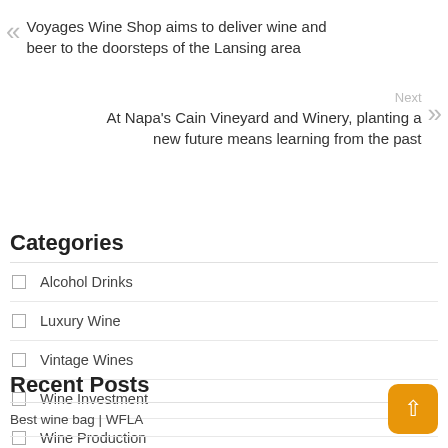« Voyages Wine Shop aims to deliver wine and beer to the doorsteps of the Lansing area
Next At Napa's Cain Vineyard and Winery, planting a new future means learning from the past »
Categories
Alcohol Drinks
Luxury Wine
Vintage Wines
Wine Investment
Wine Production
Recent Posts
Best wine bag | WFLA
Delhi drinkers kept dry after government reversal on alcohol policy | India